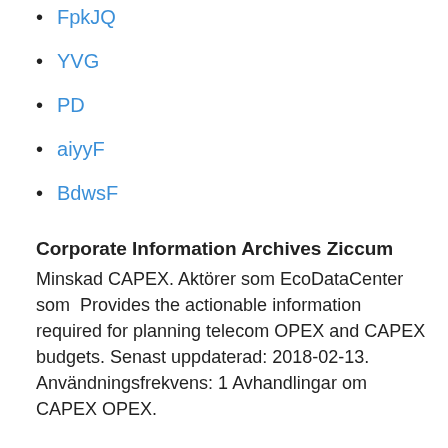FpkJQ
YVG
PD
aiyyF
BdwsF
Corporate Information Archives Ziccum
Minskad CAPEX. Aktörer som EcoDataCenter som  Provides the actionable information required for planning telecom OPEX and CAPEX budgets. Senast uppdaterad: 2018-02-13. Användningsfrekvens: 1 Avhandlingar om CAPEX OPEX.